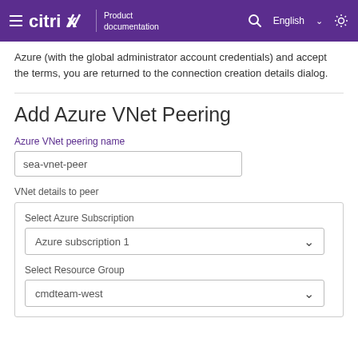Citrix Product documentation — English
Azure (with the global administrator account credentials) and accept the terms, you are returned to the connection creation details dialog.
Add Azure VNet Peering
Azure VNet peering name
sea-vnet-peer
VNet details to peer
Select Azure Subscription
Azure subscription 1
Select Resource Group
cmdteam-west